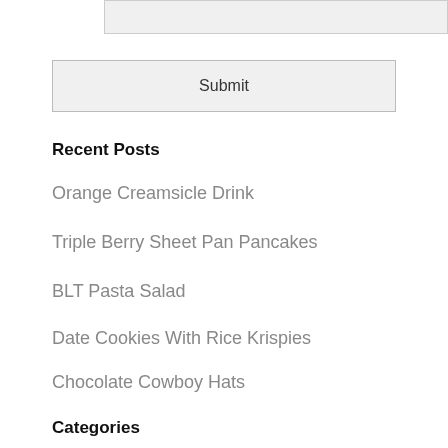[Figure (other): Input text field (empty, gray background)]
Submit
Recent Posts
Orange Creamsicle Drink
Triple Berry Sheet Pan Pancakes
BLT Pasta Salad
Date Cookies With Rice Krispies
Chocolate Cowboy Hats
Categories
Appetizers